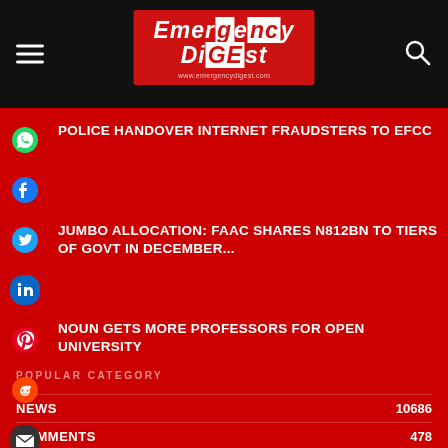Emergency Digest — www.emergencydigest.com
POLICE HANDOVER INTERNET FRAUDSTERS TO EFCC
JUMBO ALLOCATION: FAAC SHARES N812BN TO TIERS OF GOVT IN DECEMBER...
NOUN GETS MORE PROFESSORS FOR OPEN UNIVERSITY
POPULAR CATEGORY
| Category | Count |
| --- | --- |
| NEWS | 10686 |
| COMMENTS | 478 |